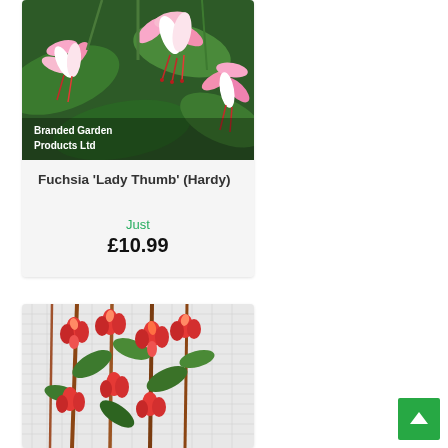[Figure (photo): Pink and white fuchsia flowers (Fuchsia 'Lady Thumb' Hardy) with dark green leaves, close-up photo. Brand watermark 'Branded Garden Products Ltd' in white text at bottom left.]
Fuchsia 'Lady Thumb' (Hardy)
Just
£10.99
[Figure (photo): Red hanging begonia flowers on tall stems with green leaves, growing in a greenhouse setting with white mesh netting in background.]
[Figure (illustration): Green back-to-top button with white upward arrow icon in bottom right corner.]